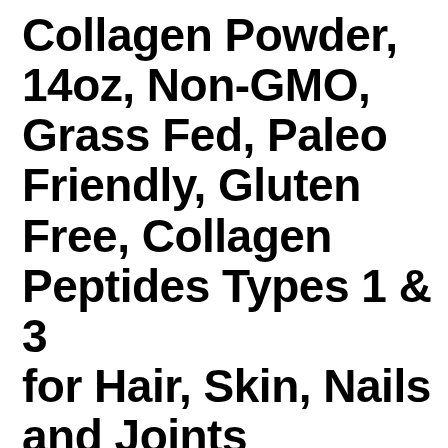Collagen Powder, 14oz, Non-GMO, Grass Fed, Paleo Friendly, Gluten Free, Collagen Peptides Types 1 & 3 for Hair, Skin, Nails and Joints (Packaging May Vary), 60 Servings